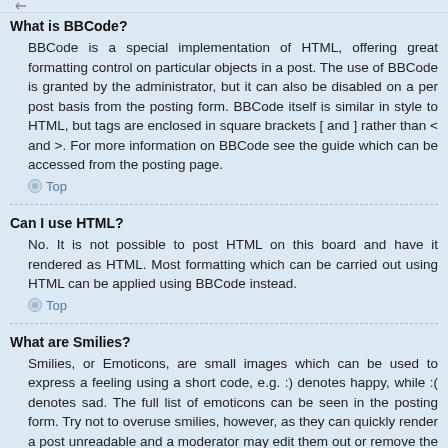What is BBCode?
BBCode is a special implementation of HTML, offering great formatting control on particular objects in a post. The use of BBCode is granted by the administrator, but it can also be disabled on a per post basis from the posting form. BBCode itself is similar in style to HTML, but tags are enclosed in square brackets [ and ] rather than < and >. For more information on BBCode see the guide which can be accessed from the posting page.
Top
Can I use HTML?
No. It is not possible to post HTML on this board and have it rendered as HTML. Most formatting which can be carried out using HTML can be applied using BBCode instead.
Top
What are Smilies?
Smilies, or Emoticons, are small images which can be used to express a feeling using a short code, e.g. :) denotes happy, while :( denotes sad. The full list of emoticons can be seen in the posting form. Try not to overuse smilies, however, as they can quickly render a post unreadable and a moderator may edit them out or remove the post altogether. The board administrator